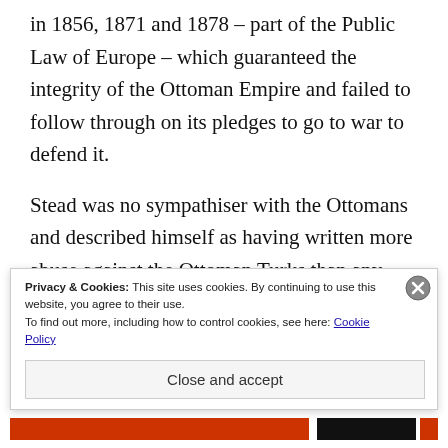in 1856, 1871 and 1878 – part of the Public Law of Europe – which guaranteed the integrity of the Ottoman Empire and failed to follow through on its pledges to go to war to defend it.
Stead was no sympathiser with the Ottomans and described himself as having written more abuse against the Ottoman Turks than any man alive. He had always seen the British defence of the Ottoman Empire as a hypocrisy founded on primarily an anti-
Privacy & Cookies: This site uses cookies. By continuing to use this website, you agree to their use.
To find out more, including how to control cookies, see here: Cookie Policy
Close and accept